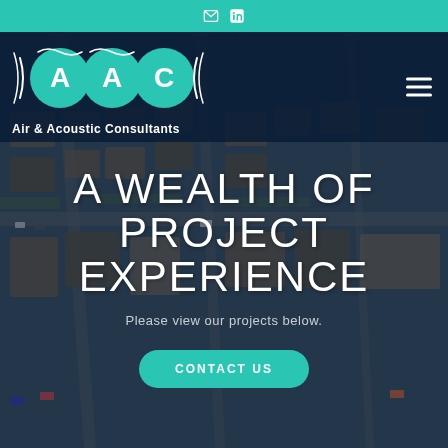[Figure (logo): AAC Air & Acoustic Consultants logo with three teal circular bubbles containing letters A, A, C with stylized sound wave lines, on dark navy background]
[Figure (photo): Aerial photograph of a residential housing development showing rows of houses with grey roofs, roads, and cars, overlaid with dark semi-transparent tint]
A WEALTH OF PROJECT EXPERIENCE
Please view our projects below.
CONTACT US